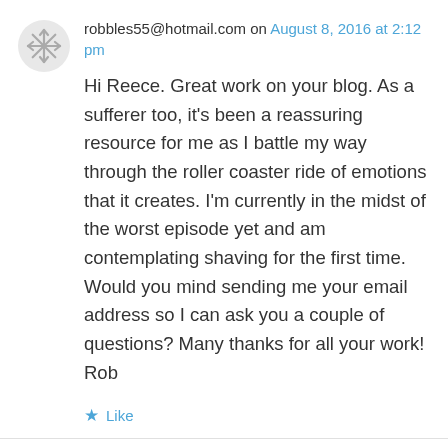robbles55@hotmail.com on August 8, 2016 at 2:12 pm
Hi Reece. Great work on your blog. As a sufferer too, it’s been a reassuring resource for me as I battle my way through the roller coaster ride of emotions that it creates. I’m currently in the midst of the worst episode yet and am contemplating shaving for the first time. Would you mind sending me your email address so I can ask you a couple of questions? Many thanks for all your work! Rob
Like
Reply